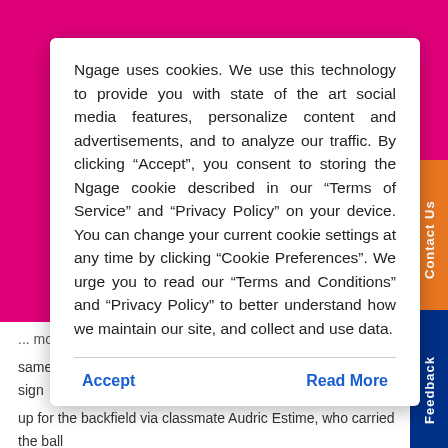Ngage uses cookies. We use this technology to provide you with state of the art social media features, personalize content and advertisements, and to analyze our traffic. By clicking “Accept”, you consent to storing the Ngage cookie described in our “Terms of Service” and “Privacy Policy” on your device. You can change your current cookie settings at any time by clicking “Cookie Preferences”. We urge you to read our “Terms and Conditions” and “Privacy Policy” to better understand how we maintain our site, and collect and use data.
Accept
Read More
... more than upon that can as he may have with the very same proficiency that he can deliver spotlight reel operates.He sign up for the backfield via classmate Audric Estime, who carried the ball merely 6 instances this time, yet he appeared actually positive within